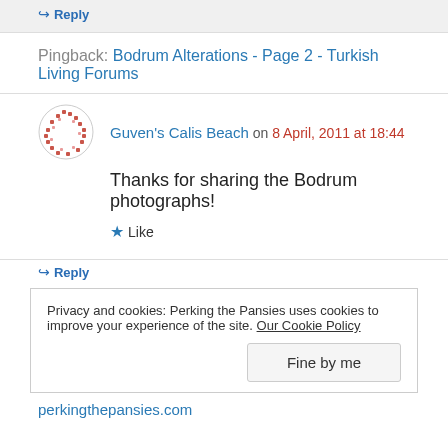↪ Reply
Pingback: Bodrum Alterations - Page 2 - Turkish Living Forums
Guven's Calis Beach on 8 April, 2011 at 18:44
Thanks for sharing the Bodrum photographs!
★ Like
↪ Reply
Privacy and cookies: Perking the Pansies uses cookies to improve your experience of the site. Our Cookie Policy
Fine by me
perkingthepansies.com